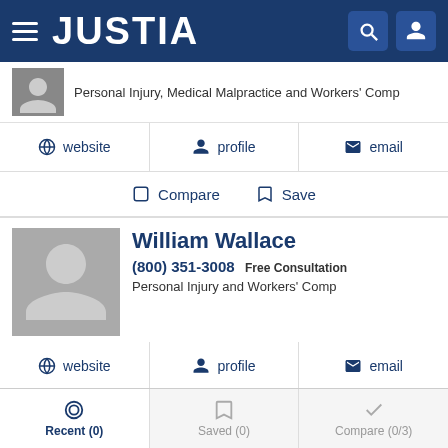JUSTIA
Personal Injury, Medical Malpractice and Workers' Comp
website  profile  email
Compare  Save
William Wallace
(800) 351-3008 Free Consultation
Personal Injury and Workers' Comp
website  profile  email
Compare  Save
Gene A. Riddle
Recent (0)  Saved (0)  Compare (0/3)